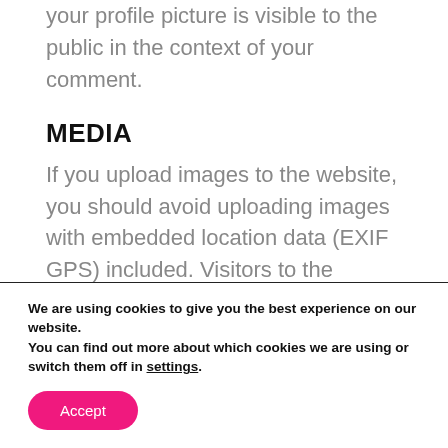After approval of your comment, your profile picture is visible to the public in the context of your comment.
MEDIA
If you upload images to the website, you should avoid uploading images with embedded location data (EXIF GPS) included. Visitors to the website
We are using cookies to give you the best experience on our website.
You can find out more about which cookies we are using or switch them off in settings.
Accept